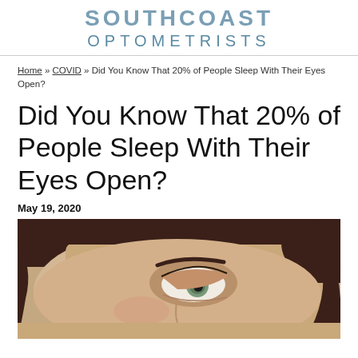SOUTHCOAST OPTOMETRISTS
Home » COVID » Did You Know That 20% of People Sleep With Their Eyes Open?
Did You Know That 20% of People Sleep With Their Eyes Open?
May 19, 2020
[Figure (photo): Close-up photo of a woman lying down with her eye open, looking upward, with dark hair spread around her.]